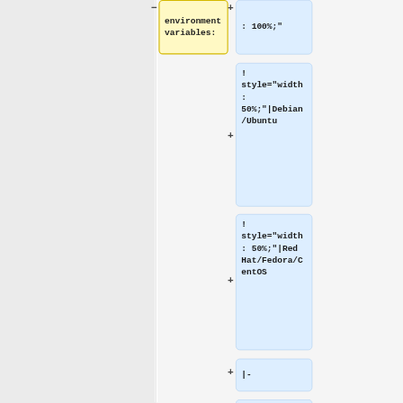environment
variables:
: 100%;"
!
style="width
:
50%;"|Debian
/Ubuntu
!
style="width
: 50%;"|Red
Hat/Fedora/CentOS
|-
|<pre>sudo
apt install
postgresql</
pre>
|<pre>sudo